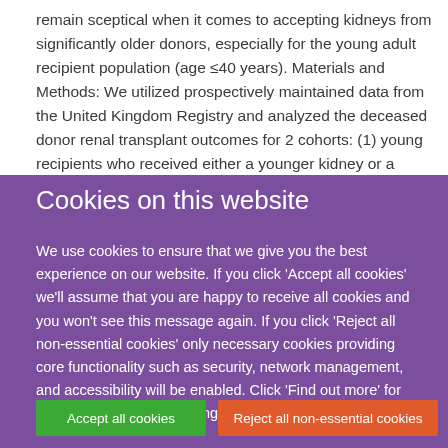remain sceptical when it comes to accepting kidneys from significantly older donors, especially for the young adult recipient population (age ≤40 years). Materials and Methods: We utilized prospectively maintained data from the United Kingdom Registry and analyzed the deceased donor renal transplant outcomes for 2 cohorts: (1) young recipients who received either a younger kidney or a kidney from a donor who
Cookies on this website
We use cookies to ensure that we give you the best experience on our website. If you click 'Accept all cookies' we'll assume that you are happy to receive all cookies and you won't see this message again. If you click 'Reject all non-essential cookies' only necessary cookies providing core functionality such as security, network management, and accessibility will be enabled. Click 'Find out more' for information on how to change your cookie settings.
Accept all cookies
Reject all non-essential cookies